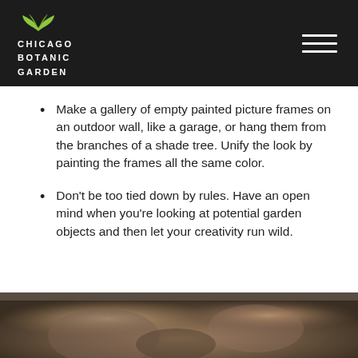CHICAGO BOTANIC GARDEN
Make a gallery of empty painted picture frames on an outdoor wall, like a garage, or hang them from the branches of a shade tree. Unify the look by painting the frames all the same color.
Don’t be too tied down by rules. Have an open mind when you’re looking at potential garden objects and then let your creativity run wild.
[Figure (photo): A blurred outdoor photo, partially visible at the bottom of the page, showing a person and garden scene.]